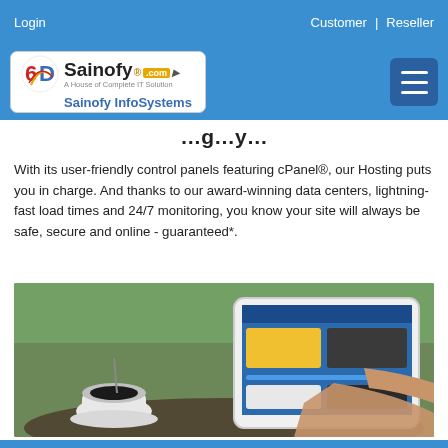Login    Customer  |  Reseller
[Figure (logo): Sainofy InfoSystems logo with colored swirl icon, text 'Sainofy.com' and tagline 'A House of Complete IT Solution', subtitle 'Sainofy InfoSystems'. Hamburger menu icon on the right.]
(partial heading text)
With its user-friendly control panels featuring cPanel®, our Hosting puts you in charge. And thanks to our award-winning data centers, lightning-fast load times and 24/7 monitoring, you know your site will always be safe, secure and online - guaranteed*.
[Figure (photo): Person holding a white tablet at an outdoor table with a cup of coffee, browsing the Sainofy web hosting control panel interface on the tablet screen.]